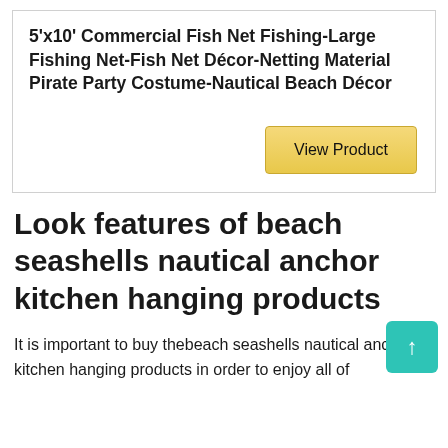5'x10' Commercial Fish Net Fishing-Large Fishing Net-Fish Net Décor-Netting Material Pirate Party Costume-Nautical Beach Décor
[Figure (other): Yellow 'View Product' button]
Look features of beach seashells nautical anchor kitchen hanging products
It is important to buy thebeach seashells nautical anchor kitchen hanging products in order to enjoy all of